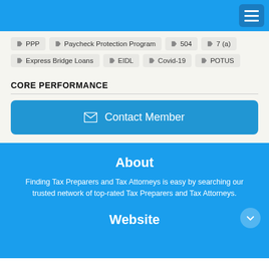Navigation bar with hamburger menu
PPP
Paycheck Protection Program
504
7 (a)
Express Bridge Loans
EIDL
Covid-19
POTUS
CORE PERFORMANCE
Contact Member
About
Finding Tax Preparers and Tax Attorneys is easy by searching our trusted network of top-rated Tax Preparers and Tax Attorneys.
Website